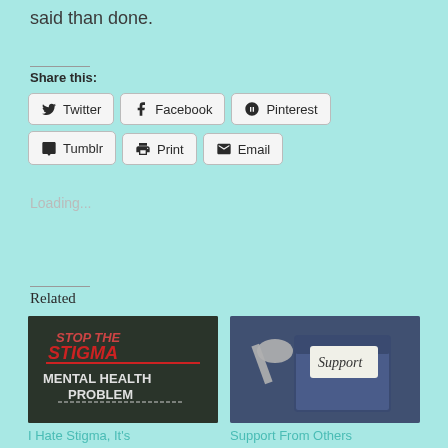said than done.
Share this:
Twitter  Facebook  Pinterest  Tumblr  Print  Email
Loading...
Related
[Figure (photo): Chalkboard with text 'Stop the Stigma Mental Health Problem' written in chalk]
I Hate Stigma, It's
[Figure (photo): Jeans pocket with a wrench and a note that says 'Support']
Support From Others